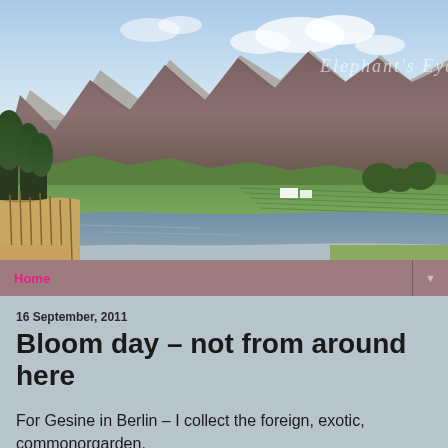[Figure (photo): Landscape photo showing mountains, a lake/dam, green farmlands/vineyards, and reed-lined water in the foreground. Watermark text reads 'Elephant's Eye' in the upper right area of the image.]
Home ▼
16 September, 2011
Bloom day – not from around here
For Gesine in Berlin – I collect the foreign, exotic, commonorgarden.
The st...